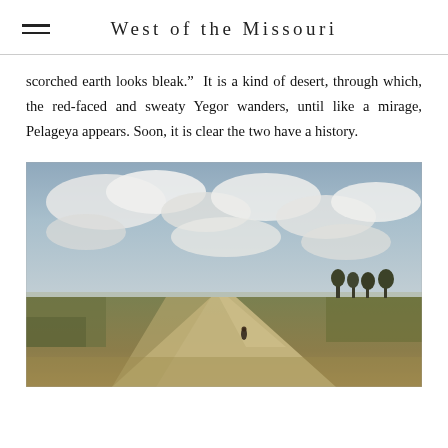West of the Missouri
scorched earth looks bleak.”  It is a kind of desert, through which, the red-faced and sweaty Yegor wanders, until like a mirage, Pelageya appears. Soon, it is clear the two have a history.
[Figure (illustration): A painting of a wide open rural landscape with an overcast cloudy sky. A long dirt road recedes into the distance across flat grasslands. A small figure stands on the road in the middle distance. Trees are visible on the horizon to the right.]